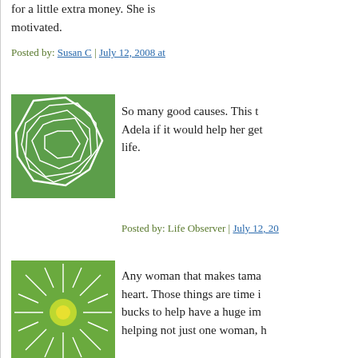for a little extra money. She is motivated.
Posted by: Susan C | July 12, 2008 at...
[Figure (illustration): Green geometric pattern avatar with polygon shapes]
So many good causes. This t... Adela if it would help her get life.
Posted by: Life Observer | July 12, 20...
[Figure (illustration): Green sunburst/radial pattern avatar]
Any woman that makes tama... heart. Those things are time i... bucks to help have a huge im... helping not just one woman, h...
And if an organization is your... need a contact with your loca... friend at the Midwest chapter... locally.
Posted by: Cinnamon | July 13, 2008 a...
The comments to this entry are closed.